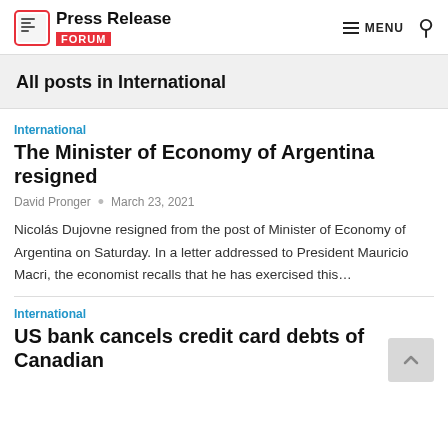Press Release Forum — MENU (nav)
All posts in International
International
The Minister of Economy of Argentina resigned
David Pronger · March 23, 2021
Nicolás Dujovne resigned from the post of Minister of Economy of Argentina on Saturday. In a letter addressed to President Mauricio Macri, the economist recalls that he has exercised this…
International
US bank cancels credit card debts of Canadian